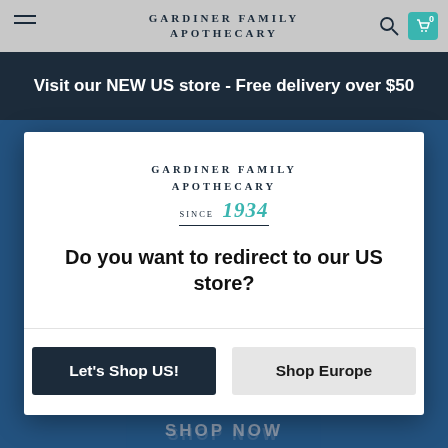GARDINER FAMILY APOTHECARY
Visit our NEW US store - Free delivery over $50
[Figure (logo): Gardiner Family Apothecary logo with text 'GARDINER FAMILY APOTHECARY SINCE 1934']
Do you want to redirect to our US store?
Let's Shop US!
Shop Europe
[Figure (photo): Blue background with sunscreen/skincare product tubes including ELA SUN SPF30 and other products]
SHOP NOW